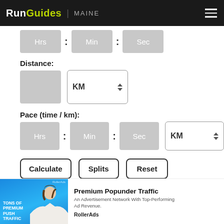RunGuides | MAINE
Hrs : Min : Sec
Distance:
KM
Pace (time / km):
Hrs : Min : Sec KM
Calculate   Splits   Reset
[Figure (screenshot): Advertisement banner for RollerAds Premium Popunder Traffic network, showing a woman and push traffic text on blue background]
Premium Popunder Traffic
An Advertisement Network With Top-Performing Ad Revenue.
RollerAds